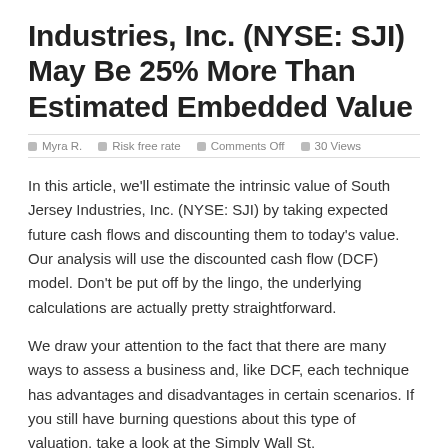Industries, Inc. (NYSE: SJI) May Be 25% More Than Estimated Embedded Value
Myra R.  Risk free rate  Comments Off  30 Views
In this article, we'll estimate the intrinsic value of South Jersey Industries, Inc. (NYSE: SJI) by taking expected future cash flows and discounting them to today's value. Our analysis will use the discounted cash flow (DCF) model. Don't be put off by the lingo, the underlying calculations are actually pretty straightforward.
We draw your attention to the fact that there are many ways to assess a business and, like DCF, each technique has advantages and disadvantages in certain scenarios. If you still have burning questions about this type of valuation, take a look at the Simply Wall St.
Check out our latest review for South Jersey Industries